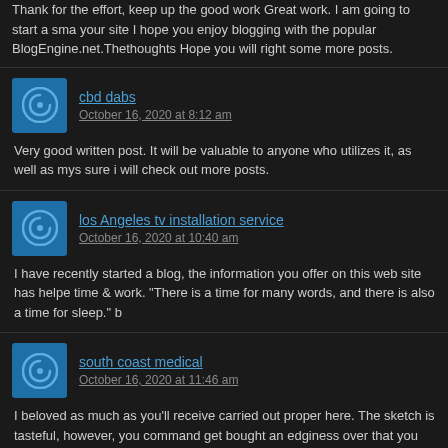Thank for the effort, keep up the good work Great work. I am going to start a small blog site I hope you enjoy blogging with the popular BlogEngine.net.Thethoughts you Hope you will right some more posts.
cbd dabs
October 16, 2020 at 8:12 am
Very good written post. It will be valuable to anyone who utilizes it, as well as mys sure i will check out more posts.
los Angeles tv installation service
October 16, 2020 at 10:40 am
I have recently started a blog, the information you offer on this web site has helpe time & work. "There is a time for many words, and there is also a time for sleep." b
south coast medical
October 16, 2020 at 11:46 am
I beloved as much as you'll receive carried out proper here. The sketch is tasteful, however, you command get bought an edginess over that you want be delivering come further beforehand once more since precisely the same just about a lot cont